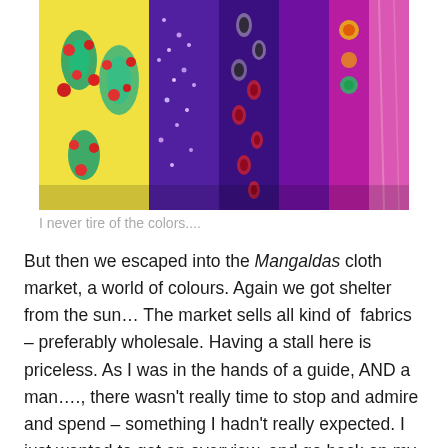[Figure (photo): Colorful Indian garments hanging side by side — yellow fabric with red and teal floral embroidery, purple fabric with silver sequins and mirror work, and bright pink/magenta fabric with embellishments.]
I never tire of the colors....
But then we escaped into the Mangaldas cloth market, a world of colours. Again we got shelter from the sun… The market sells all kind of  fabrics – preferably wholesale. Having a stall here is priceless. As I was in the hands of a guide, AND a man…., there wasn't really time to stop and admire and spend – something I hadn't really expected. I just wanted to get an overview, and go back on my own some time because we had a tight schedule.